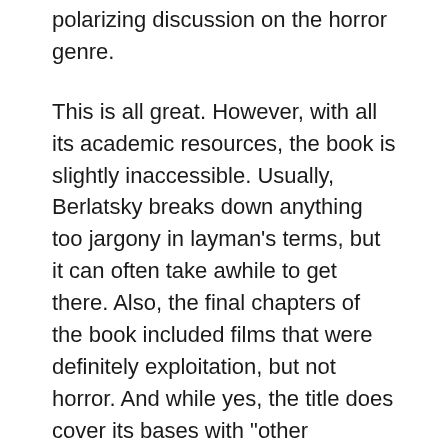polarizing discussion on the horror genre.
This is all great. However, with all its academic resources, the book is slightly inaccessible. Usually, Berlatsky breaks down anything too jargony in layman’s terms, but it can often take awhile to get there. Also, the final chapters of the book included films that were definitely exploitation, but not horror. And while yes, the title does cover its bases with “other exploitation dreck,” it’s still distracting when the book introduces itself as “Fecund Horror.” There are 12 essays that stay focused on horror, and that could have been enough without the last three.
It’s peppered with his offhand opinions that can make the collection seem more like a conversation with a friend. “We get it Mr. Bergman. We are watching something profound” is humorous given Ingmar Bergman is largely considered one of the